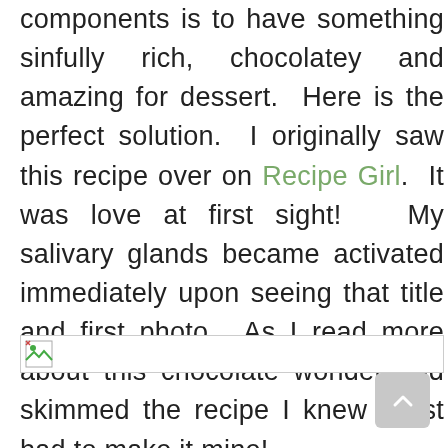components is to have something sinfully rich, chocolatey and amazing for dessert. Here is the perfect solution. I originally saw this recipe over on Recipe Girl. It was love at first sight! My salivary glands became activated immediately upon seeing that title and first photo. As I read more about this chocolate wonder and skimmed the recipe I knew I just had to make it mine!
[Figure (other): Broken image placeholder with small icon in top-left corner, shown as a bordered rectangle]
[Figure (other): Scroll-to-top button, light gray rounded rectangle with upward-pointing chevron arrow]